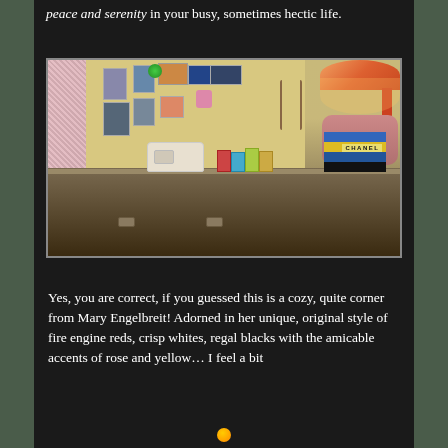peace and serenity in your busy, sometimes hectic life.
[Figure (photo): A cozy craft room corner with a sewing machine on a vintage desk, colorful photo collage on the wall, fabric dress form on the left, a decorative lamp on the right, stacked books including a Chanel book, and various craft supplies.]
Yes, you are correct, if you guessed this is a cozy, quite corner from Mary Engelbreit! Adorned in her unique, original style of fire engine reds, crisp whites, regal blacks with the amicable accents of rose and yellow… I feel a bit